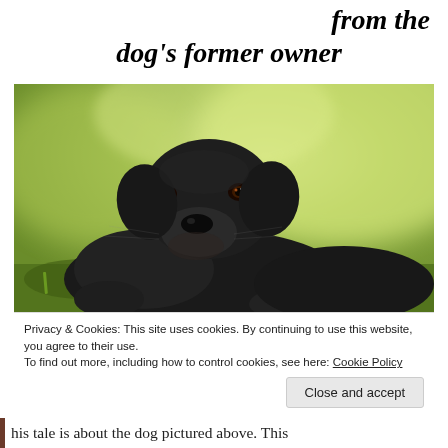find a letter from the dog's former owner
[Figure (photo): A black Labrador Retriever lying on grass, looking directly at the camera with a blurred green background.]
Privacy & Cookies: This site uses cookies. By continuing to use this website, you agree to their use.
To find out more, including how to control cookies, see here: Cookie Policy
Close and accept
his tale is about the dog pictured above. This